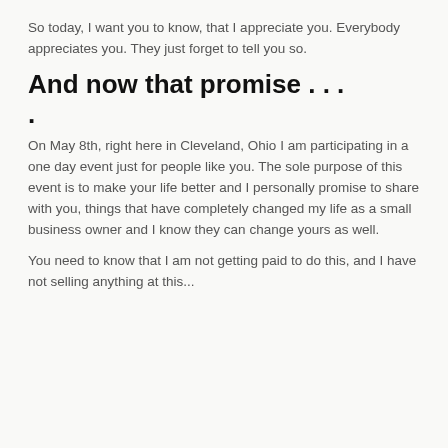So today, I want you to know, that I appreciate you.  Everybody appreciates you.  They just forget to tell you so.
And now that promise . . .
On May 8th, right here in Cleveland, Ohio I am participating in a one day event just for people like you.  The sole purpose of this event is to make your life better and I personally promise to share with you, things that have completely changed my life as a small business owner and I know they can change yours as well.
You need to know that I am not getting paid to do this, and I have not selling anything at this...